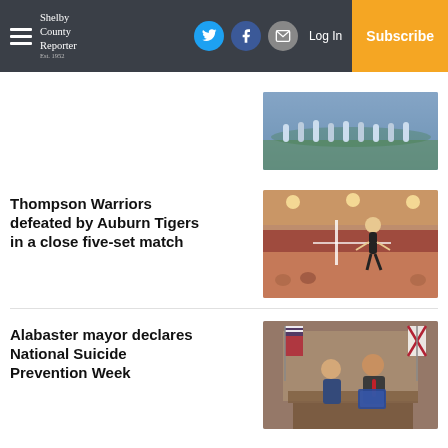Shelby County Reporter — Log In | Subscribe
[Figure (photo): Sports photo — athletes on a field or court, top story image]
Thompson Warriors defeated by Auburn Tigers in a close five-set match
[Figure (photo): Indoor volleyball match photo — player jumping at the net in a gym]
Alabaster mayor declares National Suicide Prevention Week
[Figure (photo): Mayor and woman holding a blue folder/proclamation at a podium, flags in background]